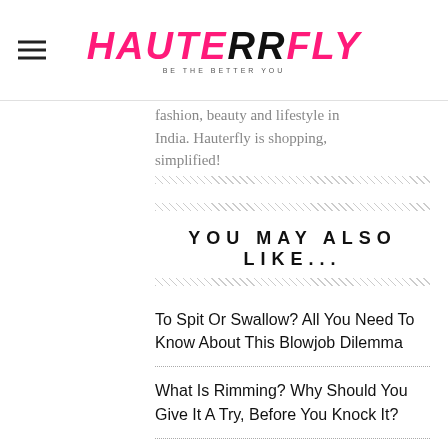HAUTERRFLY - BE THE BETTER YOU
fashion, beauty and lifestyle in India. Hauterfly is shopping, simplified!
YOU MAY ALSO LIKE...
To Spit Or Swallow? All You Need To Know About This Blowjob Dilemma
What Is Rimming? Why Should You Give It A Try, Before You Knock It?
Women Look Out For Safe Sex More Than Men, As Per NFHS Data